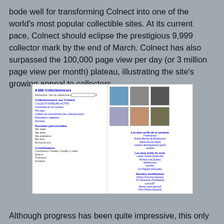bode well for transforming Colnect into one of the world's most popular collectible sites. At its current pace, Colnect should eclipse the prestigious 9,999 collector mark by the end of March. Colnect has also surpassed the 100,000 page view per day (or 3 million page view per month) plateau, illustrating the site's growing appeal to collectors.
[Figure (screenshot): Screenshot of Colnect collectors page in French, showing navigation links, search bar, user profile photos (6 collector portraits), and sections listing most active collectors of the week and month, plus recent modifications.]
Although progress has been quite impressive, this only